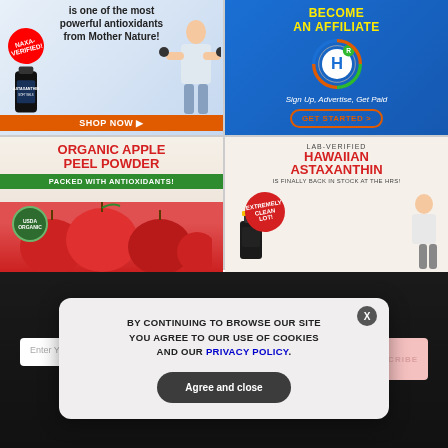[Figure (illustration): Ad for Astaxanthin supplement: text 'is one of the most powerful antioxidants from Mother Nature!', NAXA-VERIFIED badge, bottle image, woman with weights, SHOP NOW button]
[Figure (illustration): Ad for affiliate program: 'BECOME AN AFFILIATE' in yellow, H logo, 'Sign Up, Advertise, Get Paid', GET STARTED button on blue background]
[Figure (illustration): Ad for Organic Apple Peel Powder: red title text, green bar 'PACKED WITH ANTIOXIDANTS!', USDA Organic seal, red apples image]
[Figure (illustration): Ad for Hawaiian Astaxanthin: 'LAB-VERIFIED', 'HAWAIIAN ASTAXANTHIN', 'IS FINALLY BACK IN STOCK AT THE HRS!', supplement bottle, woman, EXTREMELY CLEAN LOT badge]
GET THE WORLD'S BEST NATURAL HEALTH NEWSLETTER DELIVERED STRAIGHT TO YOUR INBOX
Enter Your Email Address
SUBSCRIBE
BY CONTINUING TO BROWSE OUR SITE YOU AGREE TO OUR USE OF COOKIES AND OUR PRIVACY POLICY.
Agree and close